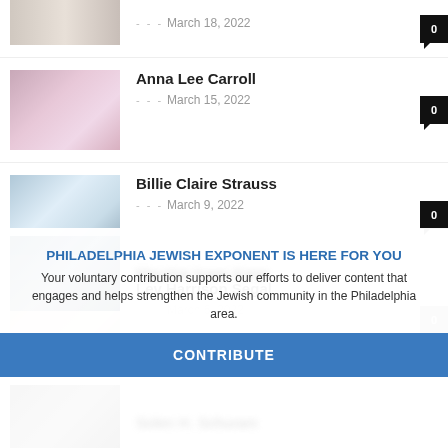[Figure (photo): Partial view of two people (couple) at top of page, cropped]
March 18, 2022
[Figure (photo): Photo of baby Anna Lee Carroll with pink bow]
Anna Lee Carroll
March 15, 2022
[Figure (photo): Photo of newborn baby Billie Claire Strauss]
Billie Claire Strauss
March 9, 2022
[Figure (photo): Photo of baby Lev Harrison Segal]
Lev Harrison Segal
[Figure (photo): Blurred/obscured photo below overlay]
Maurice Isaac Kann (blurred)
PHILADELPHIA JEWISH EXPONENT IS HERE FOR YOU
Your voluntary contribution supports our efforts to deliver content that engages and helps strengthen the Jewish community in the Philadelphia area.
CONTRIBUTE